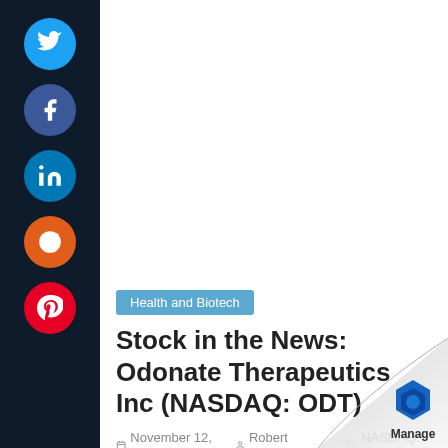[Figure (infographic): Dark navy sidebar with five circular social media share buttons: Twitter (blue), Facebook (dark blue), LinkedIn (blue), Reddit (orange), Pinterest (red)]
Health and Biotech
Stock in the News: Odonate Therapeutics Inc (NASDAQ: ODT)
November 12, 2019   Robert Hernandez   NASDAQ: ODT
As of September 30, 2019, Odonate had $204.2 M in contrast to $139.1 M since December 31, 2018. Thi
Read more